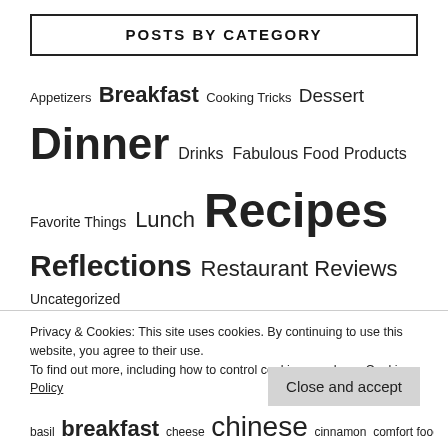POSTS BY CATEGORY
Appetizers Breakfast Cooking Tricks Dessert Dinner Drinks Fabulous Food Products Favorite Things Lunch Recipes Reflections Restaurant Reviews Uncategorized
Privacy & Cookies: This site uses cookies. By continuing to use this website, you agree to their use.
To find out more, including how to control cookies, see here: Cookie Policy
basil breakfast cheese chinese cinnamon comfort food